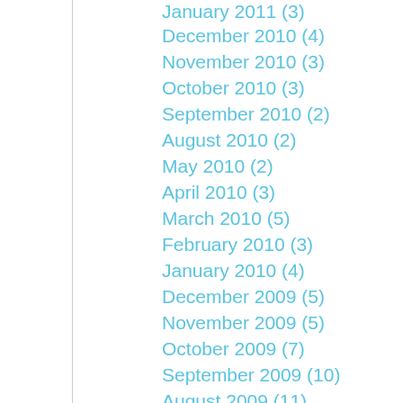January 2011 (3)
December 2010 (4)
November 2010 (3)
October 2010 (3)
September 2010 (2)
August 2010 (2)
May 2010 (2)
April 2010 (3)
March 2010 (5)
February 2010 (3)
January 2010 (4)
December 2009 (5)
November 2009 (5)
October 2009 (7)
September 2009 (10)
August 2009 (11)
July 2009 (6)